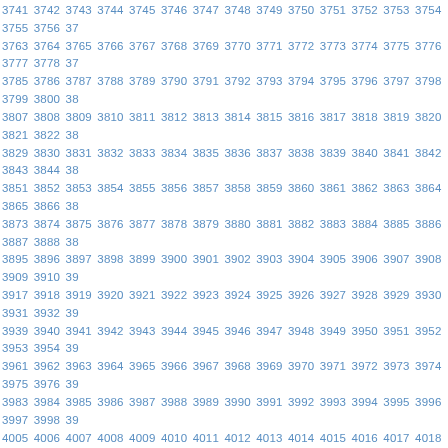3741 3742 3743 3744 3745 3746 3747 3748 3749 3750 3751 3752 3753 3754 3755 3756 37... 3763 3764 3765 3766 3767 3768 3769 3770 3771 3772 3773 3774 3775 3776 3777 3778 37... 3785 3786 3787 3788 3789 3790 3791 3792 3793 3794 3795 3796 3797 3798 3799 3800 38... 3807 3808 3809 3810 3811 3812 3813 3814 3815 3816 3817 3818 3819 3820 3821 3822 38... 3829 3830 3831 3832 3833 3834 3835 3836 3837 3838 3839 3840 3841 3842 3843 3844 38... 3851 3852 3853 3854 3855 3856 3857 3858 3859 3860 3861 3862 3863 3864 3865 3866 38... 3873 3874 3875 3876 3877 3878 3879 3880 3881 3882 3883 3884 3885 3886 3887 3888 38... 3895 3896 3897 3898 3899 3900 3901 3902 3903 3904 3905 3906 3907 3908 3909 3910 39... 3917 3918 3919 3920 3921 3922 3923 3924 3925 3926 3927 3928 3929 3930 3931 3932 39... 3939 3940 3941 3942 3943 3944 3945 3946 3947 3948 3949 3950 3951 3952 3953 3954 39... 3961 3962 3963 3964 3965 3966 3967 3968 3969 3970 3971 3972 3973 3974 3975 3976 39... 3983 3984 3985 3986 3987 3988 3989 3990 3991 3992 3993 3994 3995 3996 3997 3998 39... 4005 4006 4007 4008 4009 4010 4011 4012 4013 4014 4015 4016 4017 4018 4019 4020 40... 4027 4028 4029 4030 4031 4032 4033 4034 4035 4036 4037 4038 4039 4040 4041 4042 40... 4049 4050 4051 4052 4053 4054 4055 4056 4057 4058 4059 4060 4061 4062 4063 4064 40... 4071 4072 4073 4074 4075 4076 4077 4078 4079 4080 4081 4082 4083 4084 4085 4086 40... 4093 4094 4095 4096 4097 4098 4099 4100 4101 4102 4103 4104 4105 4106 4107 4108 41... 4115 4116 4117 4118 4119 4120 4121 4122 4123 4124 4125 4126 4127 4128 4129 4130 41... 4137 4138 4139 4140 4141 4142 4143 4144 4145 4146 4147 4148 4149 4150 4151 4152 41... 4159 4160 4161 4162 4163 4164 4165 4166 4167 4168 4169 4170 4171 4172 4173 4174 41... 4181 4182 4183 4184 4185 4186 4187 4188 4189 4190 4191 4192 4193 4194 4195 4196 41... 4203 4204 4205 4206 4207 4208 4209 4210 4211 4212 4213 4214 4215 4216 4217 4218 42... 4225 4226 4227 4228 4229 4230 4231 4232 4233 4234 4235 4236 4237 4238 4239 4240 42... 4247 4248 4249 4250 4251 4252 4253 4254 4255 4256 4257 4258 4259 4260 4261 4262...